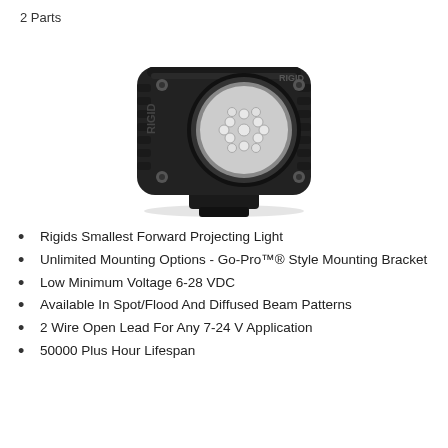2 Parts
[Figure (photo): Black RIGID Industries LED light module with circular multi-LED lens, heavy-duty housing with ribbed texture, and Go-Pro style mounting bracket at the bottom. The lens shows multiple LED emitters arranged in a circular pattern.]
Rigids Smallest Forward Projecting Light
Unlimited Mounting Options - Go-Pro™® Style Mounting Bracket
Low Minimum Voltage 6-28 VDC
Available In Spot/Flood And Diffused Beam Patterns
2 Wire Open Lead For Any 7-24 V Application
50000 Plus Hour Lifespan